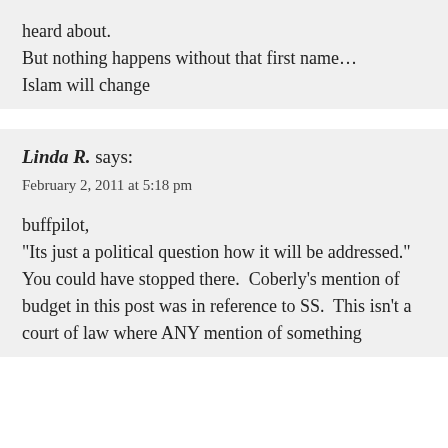heard about.
But nothing happens without that first name…
Islam will change
Linda R. says:
February 2, 2011 at 5:18 pm
buffpilot,
“Its just a political question how it will be addressed.”
You could have stopped there.  Coberly’s mention of budget in this post was in reference to SS.  This isn’t a court of law where ANY mention of something